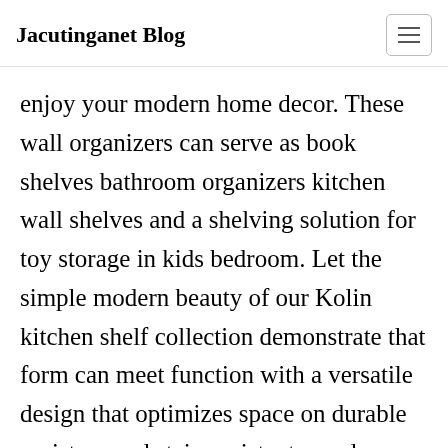Jacutinganet Blog
enjoy your modern home decor. These wall organizers can serve as book shelves bathroom organizers kitchen wall shelves and a shelving solution for toy storage in kids bedroom. Let the simple modern beauty of our Kolin kitchen shelf collection demonstrate that form can meet function with a versatile design that optimizes space on durable moisture and stain-resistant wood. Mounted wall shelves can provide